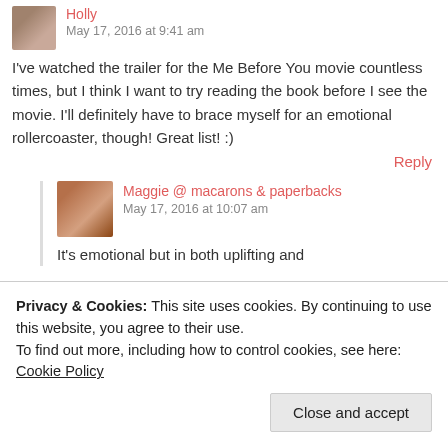[Figure (photo): Small avatar photo of Holly, a woman]
Holly
May 17, 2016 at 9:41 am
I've watched the trailer for the Me Before You movie countless times, but I think I want to try reading the book before I see the movie. I'll definitely have to brace myself for an emotional rollercoaster, though! Great list! :)
Reply
[Figure (photo): Avatar photo of Maggie, a woman with reddish hair]
Maggie @ macarons & paperbacks
May 17, 2016 at 10:07 am
It's emotional but in both uplifting and
Privacy & Cookies: This site uses cookies. By continuing to use this website, you agree to their use.
To find out more, including how to control cookies, see here: Cookie Policy
Close and accept